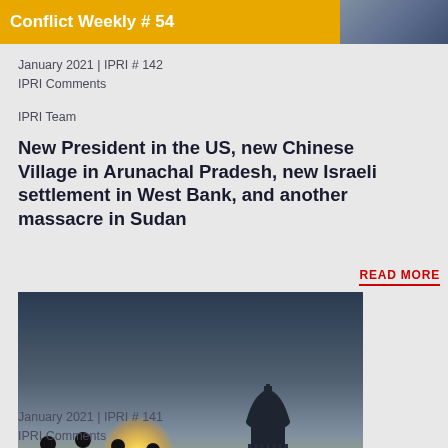[Figure (photo): Partial banner for Conflict Weekly #54 with yellow/gold background and partial image of a person, cropped at top of page]
January 2021 | IPRI # 142
IPRI Comments
IPRI Team
New President in the US, new Chinese Village in Arunachal Pradesh, new Israeli settlement in West Bank, and another massacre in Sudan
READ MORE
[Figure (photo): Photo of soldiers/security personnel in silhouette walking near the US Capitol building at dawn, with 'Conflict Weekly # 53' banner overlaid at bottom in dark blue]
January 2021 | IPRI # 141
IPRI Comments